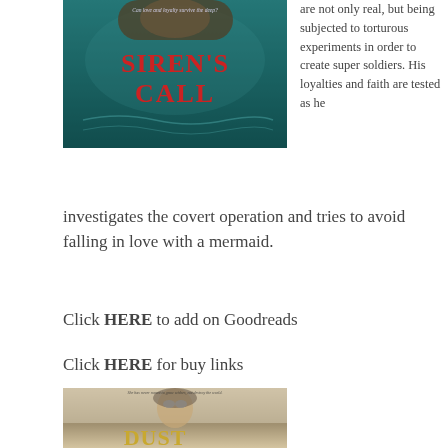[Figure (photo): Book cover for 'Siren's Call' showing a mermaid/underwater fantasy scene with teal tones and the title in red stylized lettering. Tagline: 'Can love and loyalty survive the deep?']
are not only real, but being subjected to torturous experiments in order to create super soldiers. His loyalties and faith are tested as he investigates the covert operation and tries to avoid falling in love with a mermaid.
Click HERE to add on Goodreads
Click HERE for buy links
[Figure (photo): Book cover for 'Dust' showing a young woman with aviator goggles pushed up on her forehead, holding a weapon, with a sepia/muted tone. Tagline: 'She has never meant to grow wishes, not destroy the world.']